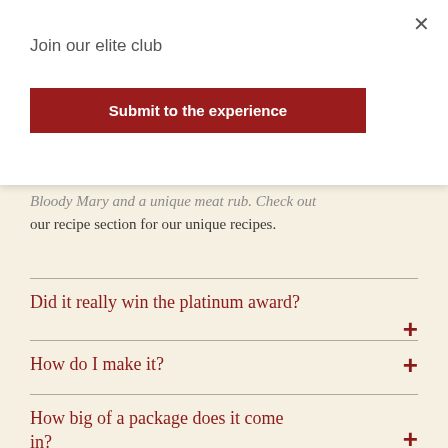×
Join our elite club
Submit to the experience
Bloody Mary and a unique meat rub.  Check out our recipe section for our unique recipes.
Did it really win the platinum award?
How do I make it?
How big of a package does it come in?